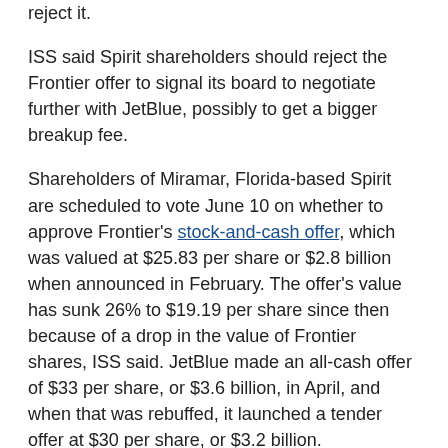reject it.
ISS said Spirit shareholders should reject the Frontier offer to signal its board to negotiate further with JetBlue, possibly to get a bigger breakup fee.
Shareholders of Miramar, Florida-based Spirit are scheduled to vote June 10 on whether to approve Frontier's stock-and-cash offer, which was valued at $25.83 per share or $2.8 billion when announced in February. The offer's value has sunk 26% to $19.19 per share since then because of a drop in the value of Frontier shares, ISS said. JetBlue made an all-cash offer of $33 per share, or $3.6 billion, in April, and when that was rebuffed, it launched a tender offer at $30 per share, or $3.2 billion.
While New York City-based JetBlue wants to acquire